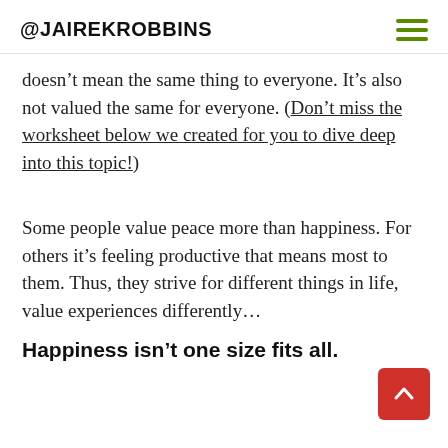@JAIREKROBBINS
doesn't mean the same thing to everyone. It's also not valued the same for everyone. (Don't miss the worksheet below we created for you to dive deep into this topic!)
Some people value peace more than happiness. For others it's feeling productive that means most to them. Thus, they strive for different things in life, value experiences differently...
Happiness isn't one size fits all.